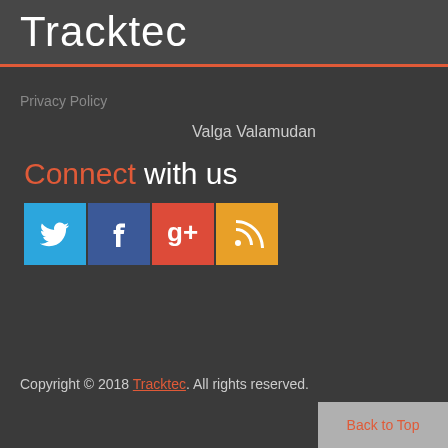Tracktec
Privacy Policy
Valga Valamudan
Connect with us
[Figure (infographic): Four social media icon buttons: Twitter (blue bird icon), Facebook (blue f icon), Google+ (red g+ icon), RSS (orange RSS feed icon)]
Copyright © 2018 Tracktec. All rights reserved.
Back to Top